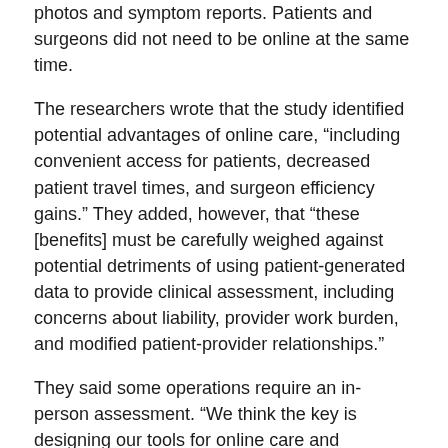photos and symptom reports. Patients and surgeons did not need to be online at the same time.
The researchers wrote that the study identified potential advantages of online care, “including convenient access for patients, decreased patient travel times, and surgeon efficiency gains.” They added, however, that “these [benefits] must be carefully weighed against potential detriments of using patient-generated data to provide clinical assessment, including concerns about liability, provider work burden, and modified patient-provider relationships.”
They said some operations require an in-person assessment. “We think the key is designing our tools for online care and developing appropriate standards for adequate online assessment so that providers can determine when online care is adequate and when in-person care may be needed,” Kummerow Broman said.
She noted that the study was designed to assess patient acceptance of online postoperative care, not to measure safety or quality of care.
“We wanted to first establish whether this method is something that patients wanted, and now that we feel we have done so, we are continuing our research in this area trying to develop ways to measure safety and quality,” Kummerow Broman said.